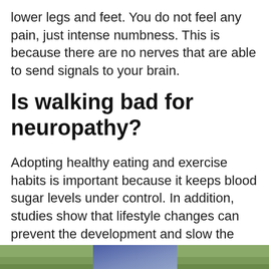lower legs and feet. You do not feel any pain, just intense numbness. This is because there are no nerves that are able to send signals to your brain.
Is walking bad for neuropathy?
Adopting healthy eating and exercise habits is important because it keeps blood sugar levels under control. In addition, studies show that lifestyle changes can prevent the development and slow the progression of neuropathy. And exercises that improve circulation, like walking, can help relieve pain.
[Figure (photo): Partial photo visible at bottom of page showing green outdoor/nature scene with blue overlay element]